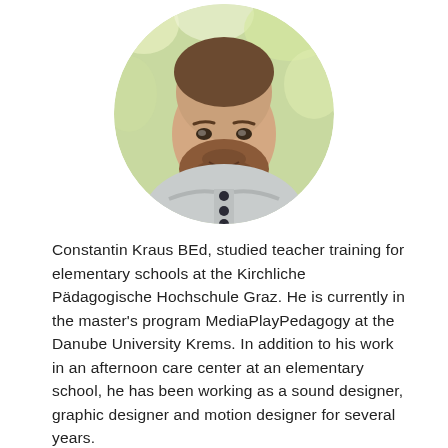[Figure (photo): Circular portrait photo of a bearded man with red-brown beard, wearing a light grey hoodie with buttons, smiling, against a blurred green leafy background.]
Constantin Kraus BEd, studied teacher training for elementary schools at the Kirchliche Pädagogische Hochschule Graz. He is currently in the master's program MediaPlayPedagogy at the Danube University Krems. In addition to his work in an afternoon care center at an elementary school, he has been working as a sound designer, graphic designer and motion designer for several years.